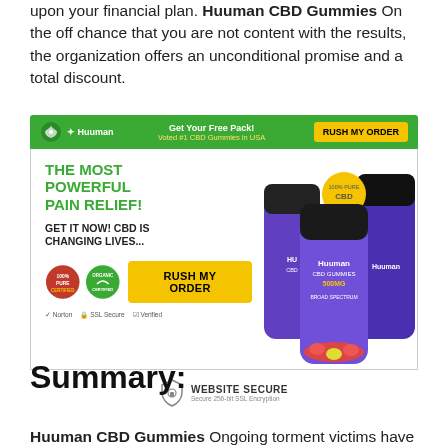upon your financial plan. Huuman CBD Gummies On the off chance that you are not content with the results, the organization offers an unconditional promise and a total discount.
[Figure (advertisement): Huuman CBD Gummies advertisement with green header bar showing logo and 'Get Your Free Pack! Voted #1 CBD Gummies in USA' with a 'RUSH MY ORDER' yellow button. Below is an ad body with green headline 'THE MOST POWERFUL PAIN RELIEF!', subheadline 'GET IT NOW! CBD IS CHANGING LIVES...', two badge icons, a yellow 'RUSH MY ORDER' button, security icons, and product bottle images on the right. Below ad is a 'WEBSITE SECURE' lock icon badge.]
Summary:
Huuman CBD Gummies Ongoing torment victims have